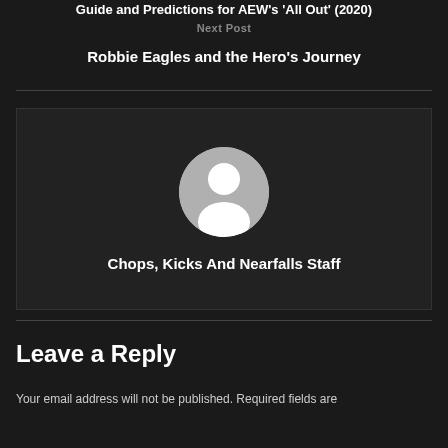Guide and Predictions for AEW's 'All Out' (2020)
Next Post
Robbie Eagles and the Hero's Journey
[Figure (illustration): Circular avatar placeholder icon with a white silhouette of a person on a grey background]
Chops, Kicks And Nearfalls Staff
Leave a Reply
Your email address will not be published. Required fields are